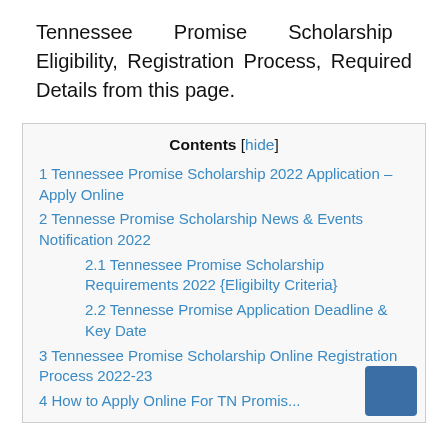Tennessee Promise Scholarship Eligibility, Registration Process, Required Details from this page.
| Contents |
| --- |
| 1 Tennessee Promise Scholarship 2022 Application – Apply Online |
| 2 Tennesse Promise Scholarship News & Events Notification 2022 |
| 2.1 Tennessee Promise Scholarship Requirements 2022 {Eligibilty Criteria} |
| 2.2 Tennesse Promise Application Deadline & Key Date |
| 3 Tennessee Promise Scholarship Online Registration Process 2022-23 |
| 4 How to Apply Online For TN Promise... |